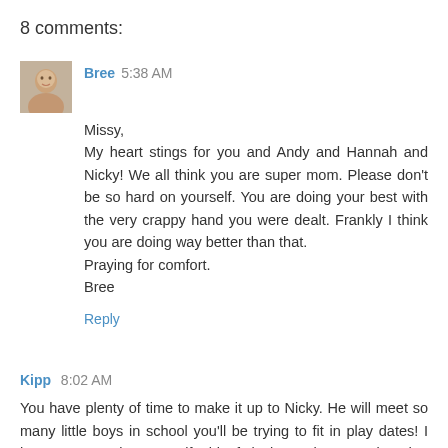8 comments:
[Figure (photo): Small avatar photo of a baby or child, used as commenter profile picture for Bree]
Bree 5:38 AM
Missy,
My heart stings for you and Andy and Hannah and Nicky! We all think you are super mom. Please don't be so hard on yourself. You are doing your best with the very crappy hand you were dealt. Frankly I think you are doing way better than that.
Praying for comfort.
Bree
Reply
Kipp 8:02 AM
You have plenty of time to make it up to Nicky. He will meet so many little boys in school you'll be trying to fit in play dates! I hope you can give yourself a bit of slack. You have continued to do much more than the average person for your family. Thanks for the update on the kids. I constantly